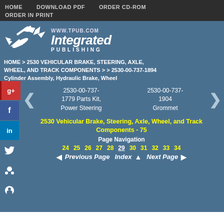HOME   DOWNLOAD PDF   ORDER CD-ROM   ORDER IN PRINT
[Figure (logo): Integrated Publishing logo with bird/arrow graphic, www.tpub.com, Integrated Publishing text]
HOME > 2530 VEHICULAR BRAKE, STEERING, AXLE, WHEEL, AND TRACK COMPONENTS > > 2530-00-737-1894 Cylinder Assembly, Hydraulic Brake, Wheel
2530-00-737-1779 Parts Kit, Power Steering     2530-00-737-1904 Grommet
2530 Vehicular Brake, Steering, Axle, Wheel, and Track Components - 75
Page Navigation
24 25 26 27 28 29 30 31 32 33 34
◄ Previous Page   Index ▲   Next Page ►